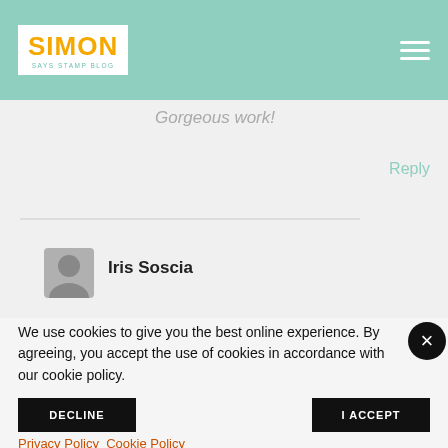Simon Says Stamp Blog
Gorgeous work!
Reply
Iris Soscia
We use cookies to give you the best online experience. By agreeing, you accept the use of cookies in accordance with our cookie policy.
DECLINE
I ACCEPT
Privacy Policy   Cookie Policy
a Memories Book for my college roommate's